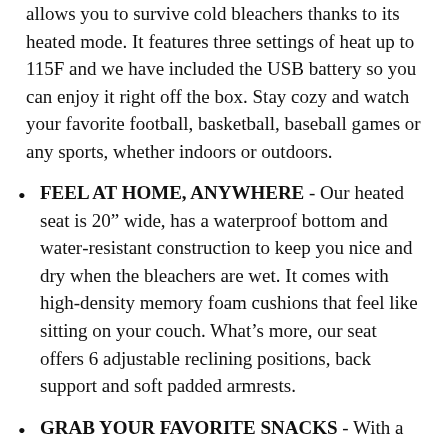allows you to survive cold bleachers thanks to its heated mode. It features three settings of heat up to 115F and we have included the USB battery so you can enjoy it right off the box. Stay cozy and watch your favorite football, basketball, baseball games or any sports, whether indoors or outdoors.
FEEL AT HOME, ANYWHERE - Our heated seat is 20" wide, has a waterproof bottom and water-resistant construction to keep you nice and dry when the bleachers are wet. It comes with high-density memory foam cushions that feel like sitting on your couch. What’s more, our seat offers 6 adjustable reclining positions, back support and soft padded armrests.
GRAB YOUR FAVORITE SNACKS - With a hidden, large back pocket, 3x zippered pockets on the side and a cup holder, you will feel right at home no matter where. Enjoy plenty of organizing power right at your fingertips, and take our smart, foldable seat with back straps, to your favorite sports games, or anywhere